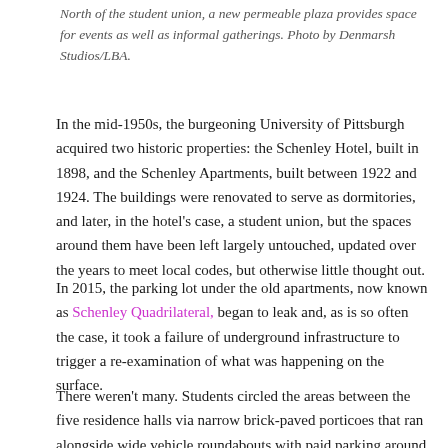North of the student union, a new permeable plaza provides space for events as well as informal gatherings. Photo by Denmarsh Studios/LBA.
In the mid-1950s, the burgeoning University of Pittsburgh acquired two historic properties: the Schenley Hotel, built in 1898, and the Schenley Apartments, built between 1922 and 1924. The buildings were renovated to serve as dormitories, and later, in the hotel's case, a student union, but the spaces around them have been left largely untouched, updated over the years to meet local codes, but otherwise little thought out.
In 2015, the parking lot under the old apartments, now known as Schenley Quadrilateral, began to leak and, as is so often the case, it took a failure of underground infrastructure to trigger a re-examination of what was happening on the surface.
There weren't many. Students circled the areas between the five residence halls via narrow brick-paved porticoes that ran alongside wide vehicle roundabouts with paid parking around